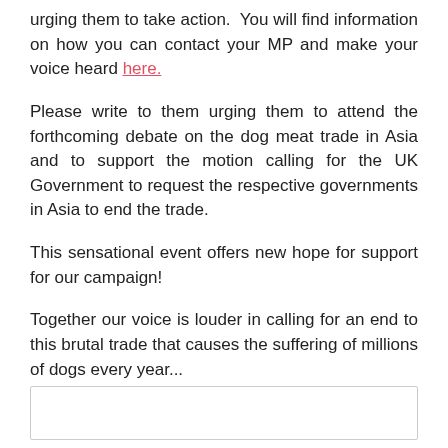urging them to take action. You will find information on how you can contact your MP and make your voice heard here.
Please write to them urging them to attend the forthcoming debate on the dog meat trade in Asia and to support the motion calling for the UK Government to request the respective governments in Asia to end the trade.
This sensational event offers new hope for support for our campaign!
Together our voice is louder in calling for an end to this brutal trade that causes the suffering of millions of dogs every year...